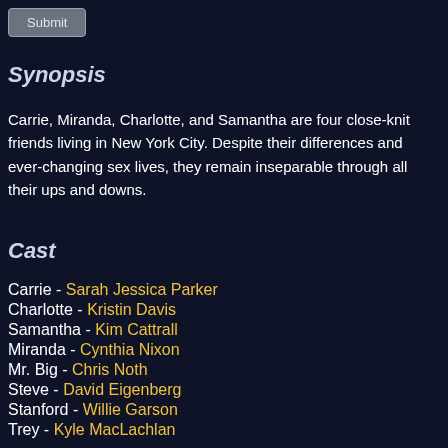Synopsis
Carrie, Miranda, Charlotte, and Samantha are four close-knit friends living in New York City. Despite their differences and ever-changing sex lives, they remain inseparable through all their ups and downs.
Cast
Carrie - Sarah Jessica Parker
Charlotte - Kristin Davis
Samantha - Kim Cattrall
Miranda - Cynthia Nixon
Mr. Big - Chris Noth
Steve - David Eigenberg
Stanford - Willie Garson
Trey - Kyle MacLachlan